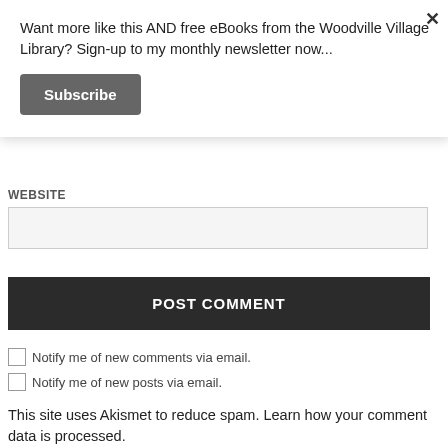Want more like this AND free eBooks from the Woodville Village Library? Sign-up to my monthly newsletter now...
Subscribe
WEBSITE
POST COMMENT
Notify me of new comments via email.
Notify me of new posts via email.
This site uses Akismet to reduce spam. Learn how your comment data is processed.